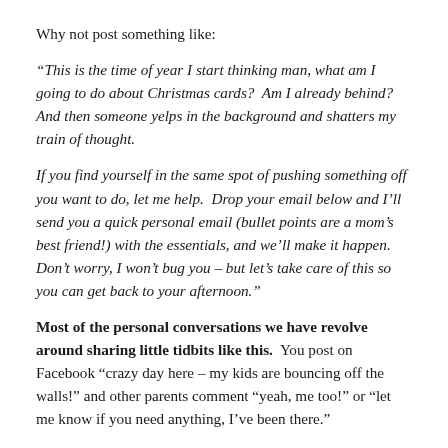Why not post something like:
“This is the time of year I start thinking man, what am I going to do about Christmas cards?  Am I already behind?  And then someone yelps in the background and shatters my train of thought.
If you find yourself in the same spot of pushing something off you want to do, let me help.  Drop your email below and I’ll send you a quick personal email (bullet points are a mom’s best friend!) with the essentials, and we’ll make it happen.  Don’t worry, I won’t bug you – but let’s take care of this so you can get back to your afternoon.”
Most of the personal conversations we have revolve around sharing little tidbits like this.  You post on Facebook “crazy day here – my kids are bouncing off the walls!” and other parents comment “yeah, me too!” or “let me know if you need anything, I’ve been there.”